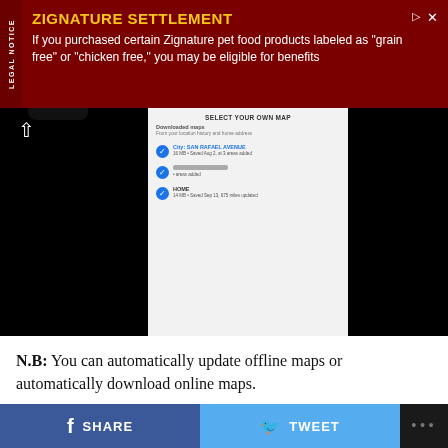[Figure (screenshot): Advertisement banner for Zignature Settlement with dark red background. Legal notice label on left side. Yellow title 'ZIGNATURE SETTLEMENT' and white body text about eligibility for benefits if purchased Zignature pet food products labeled as grain free or chicken free.]
[Figure (screenshot): Mobile phone screenshot showing a Google Maps offline maps selection screen with a list of downloaded maps. Three items are visible with blue checkmarks, showing map names and sizes.]
N.B: You can automatically update offline maps or automatically download online maps.
You can also change download preference to WiFi-only so you can cut down data usage.
8. Now, tap DOWNLOAD to save offline maps on
SHARE   TWEET   ...